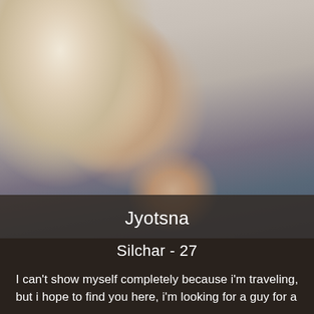[Figure (photo): Blurred selfie photo of a blonde woman with heavy eye makeup, looking slightly downward. Background shows light blue/grey tones on the right side.]
Jyotsna
Silchar - 27
I can't show myself completely because i'm traveling, but i hope to find you here, i'm looking for a guy for a